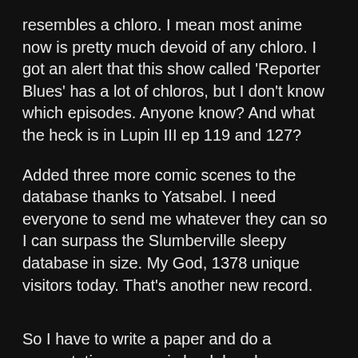resembles a chloro. I mean most anime now is pretty much devoid of any chloro. I got an alert that this show called 'Reporter Blues' has a lot of chloros, but I don't know which episodes. Anyone know? And what the heck is in Lupin III ep 119 and 127?
Added three more comic scenes to the database thanks to Yatsabel. I need everyone to send me whatever they can so I can surpass the Slumberville sleepy database in size. My God, 1378 unique visitors today. That's another new record.
So I have to write a paper and do a presentation on comic book bondage. That's going to be fun. My main idea is that bondage has played a huge role in the expansion of the comic book industry. If you read comic encyclopedias, you will find that bondage is almost never talked about despite being in almost every comic in the Golden Age. The only